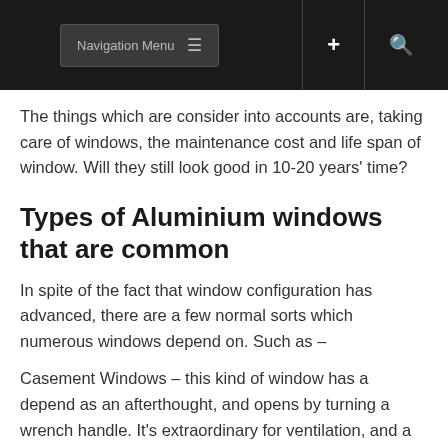Navigation Menu
The things which are consider into accounts are, taking care of windows, the maintenance cost and life span of window. Will they still look good in 10-20 years' time?
Types of Aluminium windows that are common
In spite of the fact that window configuration has advanced, there are a few normal sorts which numerous windows depend on. Such as –
Casement Windows – this kind of window has a depend as an afterthought, and opens by turning a wrench handle. It's extraordinary for ventilation, and a basic outline, however can be somewhat lumbering to open. Likewise it can encroach on space when opened.